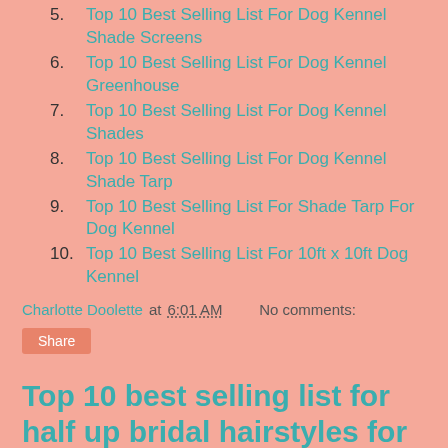5. Top 10 Best Selling List For Dog Kennel Shade Screens
6. Top 10 Best Selling List For Dog Kennel Greenhouse
7. Top 10 Best Selling List For Dog Kennel Shades
8. Top 10 Best Selling List For Dog Kennel Shade Tarp
9. Top 10 Best Selling List For Shade Tarp For Dog Kennel
10. Top 10 Best Selling List For 10ft x 10ft Dog Kennel
Charlotte Doolette at 6:01 AM    No comments:
Share
Top 10 best selling list for half up bridal hairstyles for medium hair
#1 Best Seller half up bridal hairstyles for medium hair UNSUTUO Bride White Flower Wedding Hair Pins Clips Rhinestone Silver Bridal Hair Piece Accessories for Women, Set of 3 (Silver) Browse Amazon Top 10 Best Selling List of